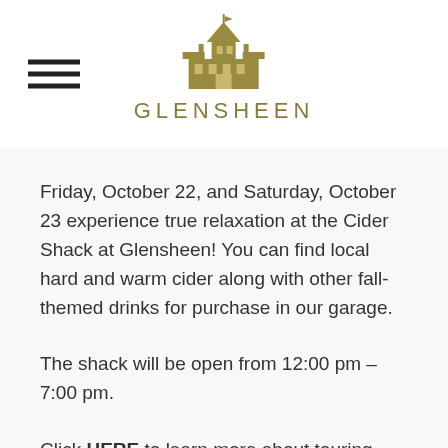GLENSHEEN
Friday, October 22, and Saturday, October 23 experience true relaxation at the Cider Shack at Glensheen! You can find local hard and warm cider along with other fall-themed drinks for purchase in our garage.
The shack will be open from 12:00 pm – 7:00 pm.
Click HERE to learn more about touring Glensheen!